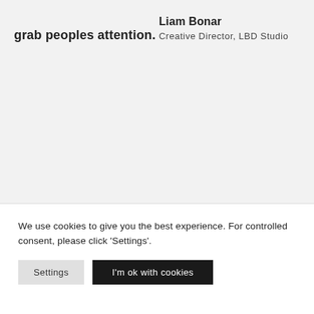grab peoples attention.
Liam Bonar
Creative Director, LBD Studio
We use cookies to give you the best experience. For controlled consent, please click 'Settings'.
Settings
I'm ok with cookies